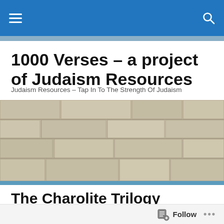Navigation bar with hamburger menu and search icon
1000 Verses – a project of Judaism Resources
Judaism Resources – Tap In To The Strength Of Judaism
[Figure (photo): Close-up photograph of large ancient stone blocks of the Western Wall in Jerusalem]
The Charolite Trilogy
The Charolite Trilogy
Follow